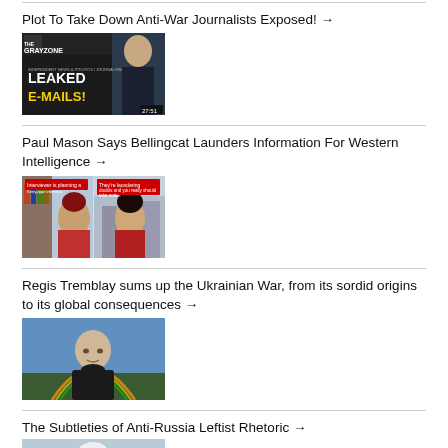Plot To Take Down Anti-War Journalists Exposed! →
[Figure (photo): The Grayzone thumbnail showing leaked emails text and a man in suit]
Paul Mason Says Bellingcat Launders Information For Western Intelligence →
[Figure (photo): Video thumbnail showing two women side by side with red caption labels]
Regis Tremblay sums up the Ukrainian War, from its sordid origins to its global consequences →
[Figure (photo): Video thumbnail showing an older bald man outdoors with a rainbow in background]
The Subtleties of Anti-Russia Leftist Rhetoric →
[Figure (photo): Partially visible thumbnail showing a figure]